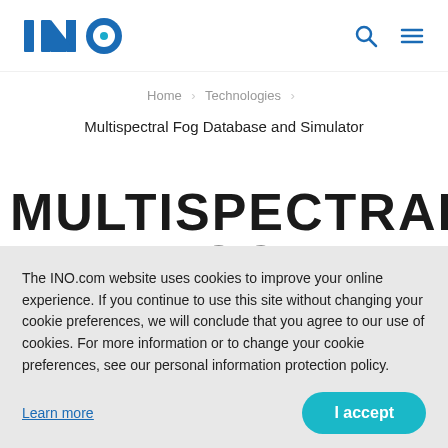[Figure (logo): INO logo in blue with stylized letters I, N, O]
Home > Technologies >
Multispectral Fog Database and Simulator
MULTISPECTRAL FOG
The INO.com website uses cookies to improve your online experience. If you continue to use this site without changing your cookie preferences, we will conclude that you agree to our use of cookies. For more information or to change your cookie preferences, see our personal information protection policy.
Learn more
I accept